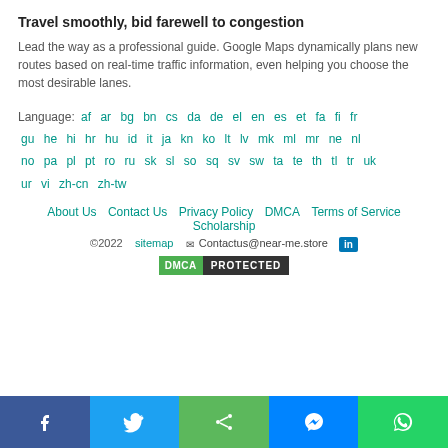Travel smoothly, bid farewell to congestion
Lead the way as a professional guide. Google Maps dynamically plans new routes based on real-time traffic information, even helping you choose the most desirable lanes.
Language: af ar bg bn cs da de el en es et fa fi fr gu he hi hr hu id it ja kn ko lt lv mk ml mr ne nl no pa pl pt ro ru sk sl so sq sv sw ta te th tl tr uk ur vi zh-cn zh-tw
About Us  Contact Us  Privacy Policy  DMCA  Terms of Service  Scholarship
©2022  sitemap  ✉ Contactus@near-me.store  [LinkedIn]  DMCA PROTECTED